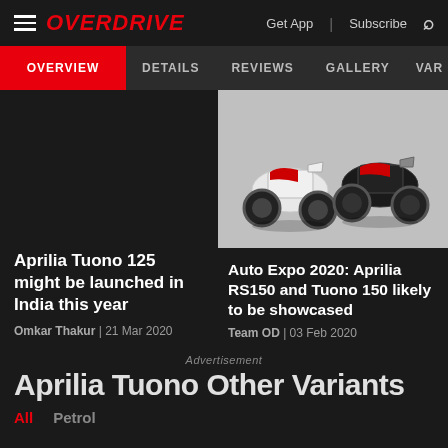OVERDRIVE  Get App | Subscribe
OVERVIEW  DETAILS  REVIEWS  GALLERY  VAR
[Figure (photo): Two Aprilia motorcycles (RS150 models) in white/red colorways side by side]
Auto Expo 2020: Aprilia RS150 and Tuono 150 likely to be showcased
Team OD | 03 Feb 2020
Aprilia Tuono 125 might be launched in India this year
Omkar Thakur | 21 Mar 2020
Advertisement
Aprilia Tuono Other Variants
All
Petrol